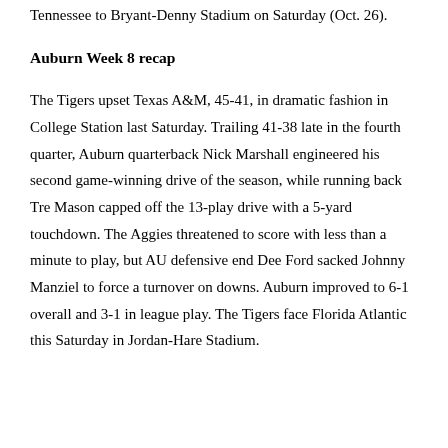Tennessee to Bryant-Denny Stadium on Saturday (Oct. 26).
Auburn Week 8 recap
The Tigers upset Texas A&M, 45-41, in dramatic fashion in College Station last Saturday. Trailing 41-38 late in the fourth quarter, Auburn quarterback Nick Marshall engineered his second game-winning drive of the season, while running back Tre Mason capped off the 13-play drive with a 5-yard touchdown. The Aggies threatened to score with less than a minute to play, but AU defensive end Dee Ford sacked Johnny Manziel to force a turnover on downs. Auburn improved to 6-1 overall and 3-1 in league play. The Tigers face Florida Atlantic this Saturday in Jordan-Hare Stadium.